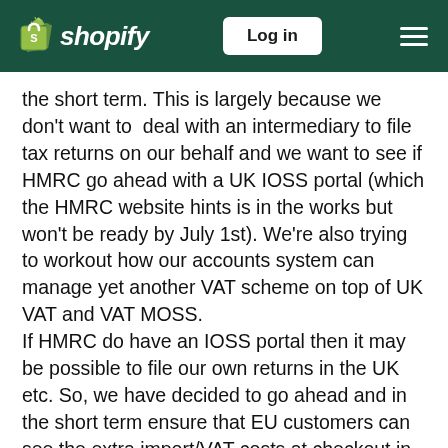Shopify — Log in
the short term. This is largely because we don't want to  deal with an intermediary to file tax returns on our behalf and we want to see if HMRC go ahead with a UK IOSS portal (which the HMRC website hints is in the works but won't be ready by July 1st). We're also trying to workout how our accounts system can manage yet another VAT scheme on top of UK VAT and VAT MOSS.
If HMRC do have an IOSS portal then it may be possible to file our own returns in the UK etc. So, we have decided to go ahead and in the short term ensure that EU customers can see the extra import/VAT costs at checkout in the short term so they are fully informed and no nasty surprises,